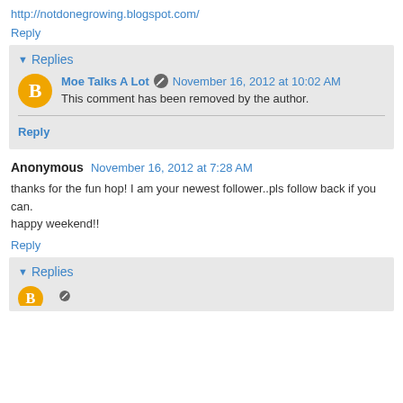http://notdonegrowing.blogspot.com/
Reply
Replies
Moe Talks A Lot  November 16, 2012 at 10:02 AM
This comment has been removed by the author.
Reply
Anonymous  November 16, 2012 at 7:28 AM
thanks for the fun hop! I am your newest follower..pls follow back if you can.
happy weekend!!
Reply
Replies